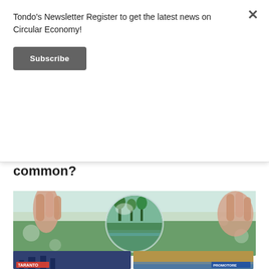Tondo's Newsletter Register to get the latest news on Circular Economy!
Subscribe
common?
[Figure (photo): A hand holding a glass sphere/crystal ball reflecting a green nature scene with trees and plants]
26 August 2021  Circular Economy
Environment & Economy
[Figure (photo): Two small thumbnail images at the bottom of the page - one with TARANTO label and one with PROMOTORE label]